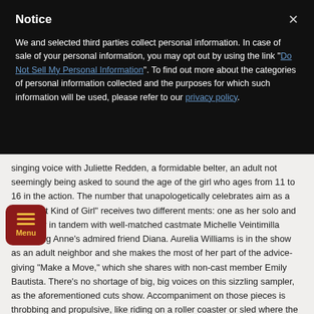Notice
We and selected third parties collect personal information. In case of sale of your personal information, you may opt out by using the link "Do Not Sell My Personal Information". To find out more about the categories of personal information collected and the purposes for which such information will be used, please refer to our privacy policy.
singing voice with Juliette Redden, a formidable belter, an adult not seemingly being asked to sound the age of the girl who ages from 11 to 16 in the action. The number that unapologetically celebrates aim as a "Different Kind of Girl" receives two different ments: one as her solo and the other in tandem with well-matched castmate Michelle Veintimilla portraying Anne's admired friend Diana. Aurelia Williams is in the show as an adult neighbor and she makes the most of her part of the advice-giving "Make a Move," which she shares with non-cast member Emily Bautista. There's no shortage of big, big voices on this sizzling sampler, as the aforementioned cuts show. Accompaniment on those pieces is throbbing and propulsive, like riding on a roller coaster or sled where the inclines increase as does the speed, with things hurtling